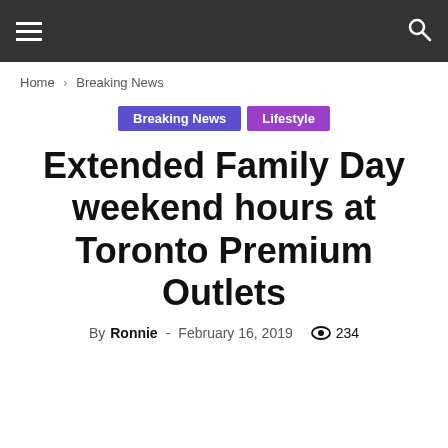☰  🔍
Home › Breaking News
Breaking News  Lifestyle
Extended Family Day weekend hours at Toronto Premium Outlets
By Ronnie - February 16, 2019  👁 234